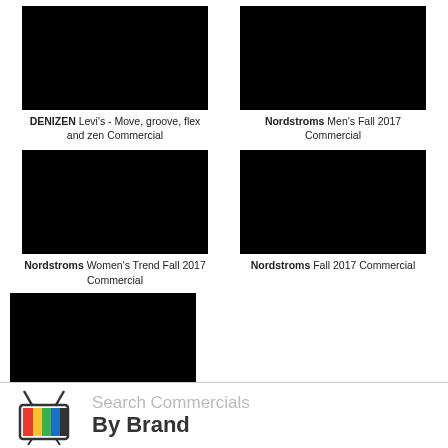[Figure (screenshot): Black video thumbnail for DENIZEN Levi's commercial]
DENIZEN Levi's - Move, groove, flex and zen Commercial
[Figure (screenshot): Black video thumbnail for Nordstroms Men's Fall 2017 Commercial]
Nordstroms Men's Fall 2017 Commercial
[Figure (screenshot): Black video thumbnail for Nordstroms Women's Trend Fall 2017 Commercial]
Nordstroms Women's Trend Fall 2017 Commercial
[Figure (screenshot): Black video thumbnail for Nordstroms Fall 2017 Commercial]
Nordstroms Fall 2017 Commercial
[Figure (screenshot): Black video thumbnail for Neutrogena Kerry Washington Hydro Boost Commercial]
Neutrogena Kerry Washington | Hydro Boost Commercial
[Figure (logo): ABAN logo with colorful TV icon]
Search Commercials By Brand